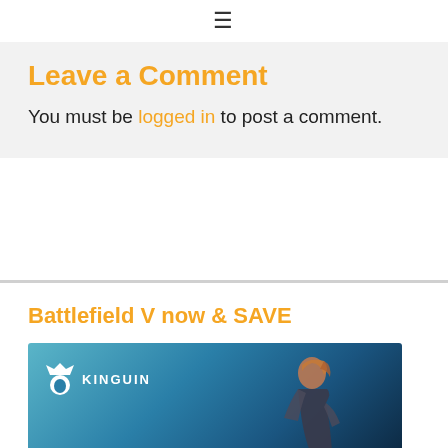≡
Leave a Comment
You must be logged in to post a comment.
Battlefield V now & SAVE
[Figure (photo): Kinguin advertisement banner for Battlefield V showing a female soldier figure against a blue-teal background with Kinguin logo and text]